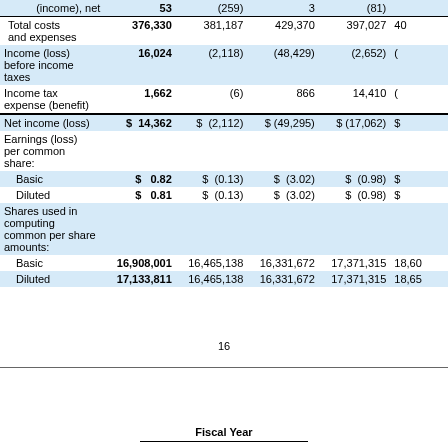|  | Col1 | Col2 | Col3 | Col4 | Col5 |
| --- | --- | --- | --- | --- | --- |
| (income), net | 53 | (259) | 3 | (81) |  |
| Total costs and expenses | 376,330 | 381,187 | 429,370 | 397,027 | 40... |
| Income (loss) before income taxes | 16,024 | (2,118) | (48,429) | (2,652) | ( |
| Income tax expense (benefit) | 1,662 | (6) | 866 | 14,410 | ( |
| Net income (loss) | $ 14,362 | $ (2,112) | $ (49,295) | $ (17,062) | $ |
| Earnings (loss) per common share: |  |  |  |  |  |
| Basic | $ 0.82 | $ (0.13) | $ (3.02) | $ (0.98) | $ |
| Diluted | $ 0.81 | $ (0.13) | $ (3.02) | $ (0.98) | $ |
| Shares used in computing common per share amounts: |  |  |  |  |  |
| Basic | 16,908,001 | 16,465,138 | 16,331,672 | 17,371,315 | 18,60... |
| Diluted | 17,133,811 | 16,465,138 | 16,331,672 | 17,371,315 | 18,65... |
16
Fiscal Year